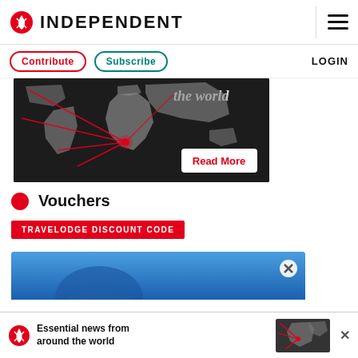INDEPENDENT
Contribute | Subscribe | LOGIN
[Figure (map): Dark world map with red lines radiating from South Africa to other continents, with 'the world' text and a Read More button]
Vouchers
TRAVELODGE DISCOUNT CODE
[Figure (screenshot): Blue gradient banner advertisement, partially visible]
[Figure (screenshot): Bottom advertisement banner: Essential news from around the world, with Independent logo and world map graphic, with X close button]